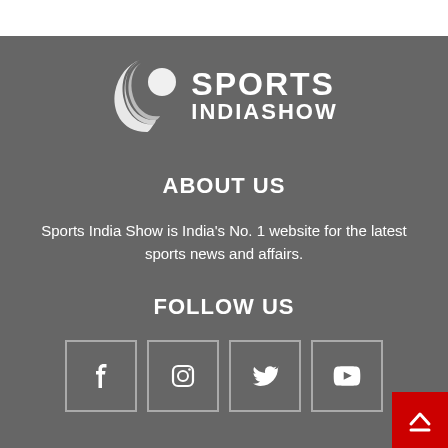[Figure (logo): Sports India Show logo with crescent moon icon and bold text SPORTS INDIASHOW]
ABOUT US
Sports India Show is India's No. 1 website for the latest sports news and affairs.
FOLLOW US
[Figure (infographic): Social media icons: Facebook, Instagram, Twitter, YouTube in bordered boxes]
[Figure (other): Red back-to-top button with upward chevron arrow in bottom right corner]